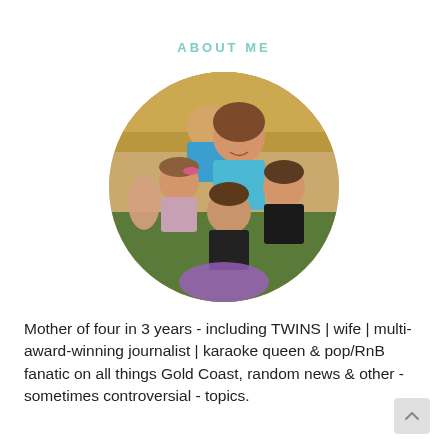ABOUT ME
[Figure (photo): Circular cropped family photo showing a smiling woman surrounded by four young children outdoors, group hug scene]
Mother of four in 3 years - including TWINS | wife | multi-award-winning journalist | karaoke queen & pop/RnB fanatic on all things Gold Coast, random news & other - sometimes controversial - topics.